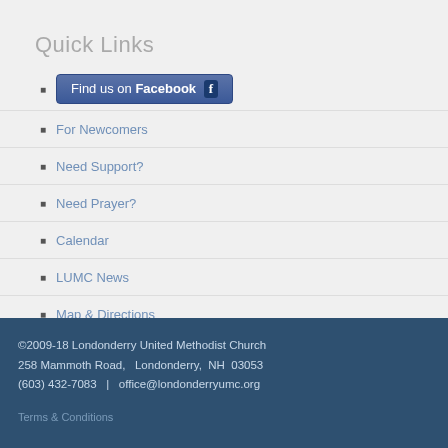Quick Links
Find us on Facebook
For Newcomers
Need Support?
Need Prayer?
Calendar
LUMC News
Map & Directions
Contact Us
©2009-18 Londonderry United Methodist Church 258 Mammoth Road, Londonderry, NH 03053 (603) 432-7083 | office@londonderryumc.org
Terms & Conditions